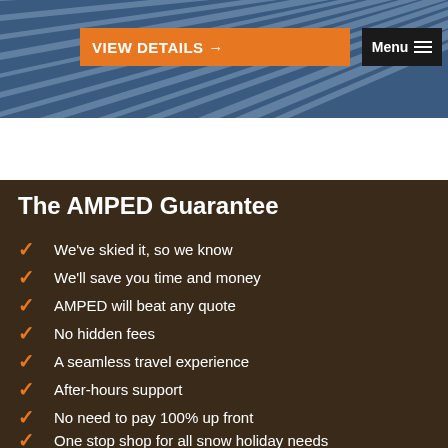[Figure (screenshot): Top banner with blue/metallic radial stripe background, orange 'VIEW DETAILS →' button, and black 'Menu ≡' button on right]
We've skied it, so we know
We'll save you time and money
AMPED will beat any quote
No hidden fees
A seamless travel experience
After-hours support
No need to pay 100% up front
One stop shop for all snow holiday needs